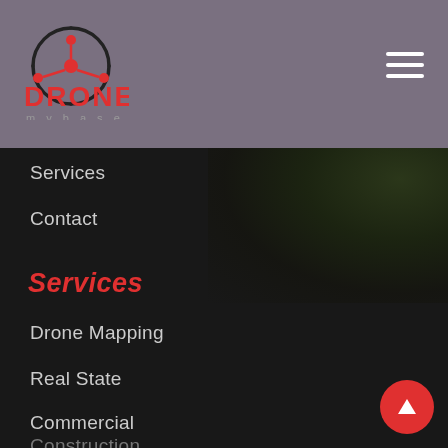[Figure (logo): Drone mybase logo with red network/hub icon and red bold text DRONE with mybase in grey below]
DRONE mybase navigation header with hamburger menu
Services
Contact
Services
Drone Mapping
Real State
Commercial
Construction